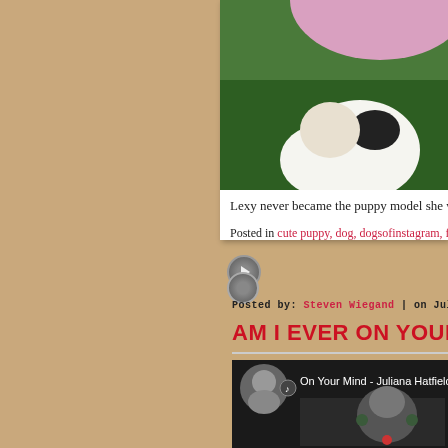[Figure (photo): Partial view of a dog photo with grass and pink flower in background, top of page, cropped]
Lexy never became the puppy model she was destine
Posted in cute puppy, dog, dogsofinstagram, funny dog
Posted by: Steven Wiegand | on Jul
AM I EVER ON YOUR MIND?
[Figure (screenshot): YouTube-style video thumbnail showing 'On Your Mind - Juliana Hatfield a...' with a circular avatar on the left and a dark background portrait image on the right]